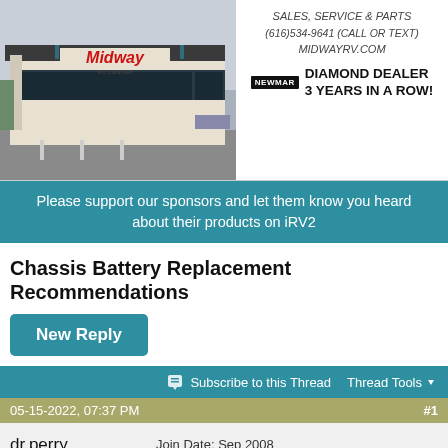[Figure (photo): Midway RV Center storefront building with red logo sign, teal/dark trim, and parking lot]
SALES, SERVICE & PARTS
(616)534-9641 (CALL OR TEXT)
MIDWAYRV.COM
NEWMAR DIAMOND DEALER
3 YEARS IN A ROW!
Please support our sponsors and let them know you heard about their products on iRV2
Chassis Battery Replacement Recommendations
New Reply
Subscribe to this Thread   Thread Tools
05-15-2022, 07:37 PM   #1
dr.perry
Join Date: Sep 2008
Location: East Tennessee
Posts: 74
Chassis Battery Replacement Recommendations
My current chassis batteries are over 7 years old. I have some long trips planned for the summer and don't want to suddenly find myself with dead batteries so I am planning on replacing them. Do I need to